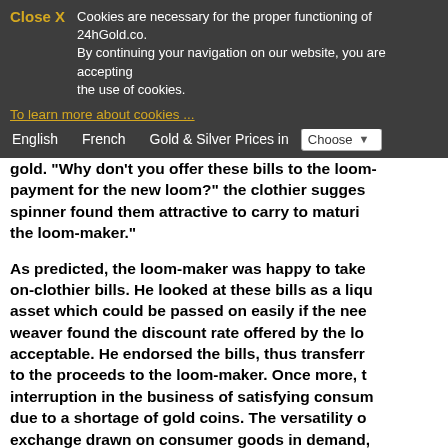Close X   Cookies are necessary for the proper functioning of 24hGold.co. By continuing your navigation on our website, you are accepting the use of cookies.
To learn more about cookies ...
English   French   Gold & Silver Prices in   Choose
payment for the new loom?" the clothier suggests. spinner found them attractive to carry to maturity the loom-maker."
As predicted, the loom-maker was happy to take on-clothier bills. He looked at these bills as a liquid asset which could be passed on easily if the weaver found the discount rate offered by the loom acceptable. He endorsed the bills, thus transferring to the proceeds to the loom-maker. Once more, interruption in the business of satisfying consumers due to a shortage of gold coins. The versatility of exchange drawn on consumer goods in demand, potential for circulation, was proved again. The clothier bill could circulate even outside the small tradesmen engaged in the production of cloth.
As it happened, next morning the clothier had a selling out his entire inventory of cloth. As his flush with gold coins, he thought that his cash c